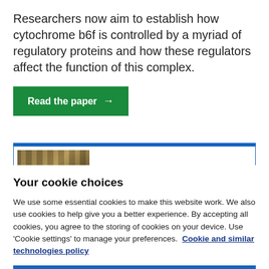Researchers now aim to establish how cytochrome b6f is controlled by a myriad of regulatory proteins and how these regulators affect the function of this complex.
[Figure (other): Green button reading 'Read the paper' with a right-arrow]
[Figure (photo): Partially visible card with a blue top border and a thumbnail image showing a striped/textured pattern (appears to be a close-up of woven material or similar)]
Your cookie choices
We use some essential cookies to make this website work. We also use cookies to help give you a better experience. By accepting all cookies, you agree to the storing of cookies on your device. Use 'Cookie settings' to manage your preferences. Cookie and similar technologies policy
[Figure (other): Blue button reading 'Accept all cookies']
Cookie settings